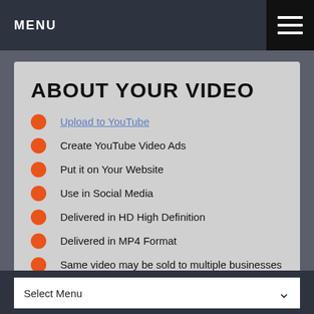MENU
ABOUT YOUR VIDEO
Upload to YouTube
Create YouTube Video Ads
Put it on Your Website
Use in Social Media
Delivered in HD High Definition
Delivered in MP4 Format
Same video may be sold to multiple businesses
Branded With Your Contact Info
Select Menu